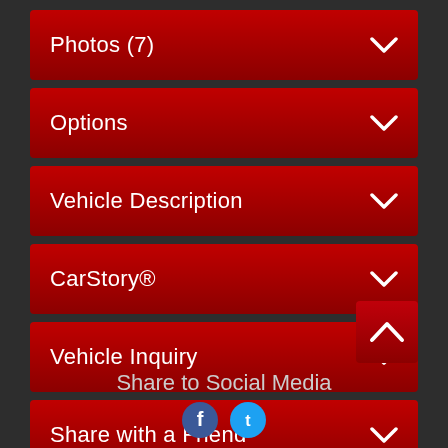Photos (7)
Options
Vehicle Description
CarStory®
Vehicle Inquiry
Share with a Friend
Make Offer
Share to Social Media